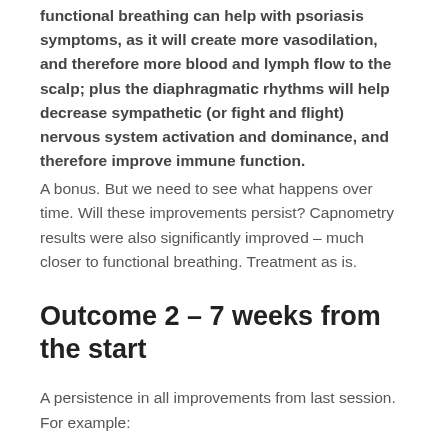functional breathing can help with psoriasis symptoms, as it will create more vasodilation, and therefore more blood and lymph flow to the scalp; plus the diaphragmatic rhythms will help decrease sympathetic (or fight and flight) nervous system activation and dominance, and therefore improve immune function.
A bonus. But we need to see what happens over time. Will these improvements persist? Capnometry results were also significantly improved – much closer to functional breathing. Treatment as is.
Outcome 2 – 7 weeks from the start
A persistence in all improvements from last session.
For example: